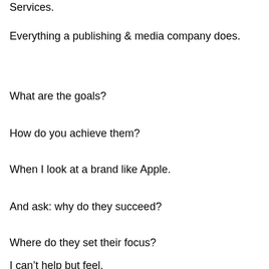Services.
Everything a publishing & media company does.
What are the goals?
How do you achieve them?
When I look at a brand like Apple.
And ask: why do they succeed?
Where do they set their focus?
I can’t help but feel.